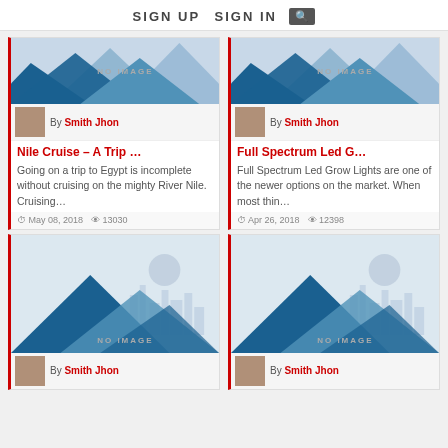SIGN UP   SIGN IN  🔍
[Figure (screenshot): Article card: Nile Cruise – A Trip ... by Smith Jhon, placeholder mountain image, excerpt about trip to Egypt, May 08 2018, 13030 views]
[Figure (screenshot): Article card: Full Spectrum Led G... by Smith Jhon, placeholder mountain image, excerpt about LED grow lights, Apr 26 2018, 12398 views]
[Figure (screenshot): Article card bottom-left: placeholder mountain image, by Smith Jhon]
[Figure (screenshot): Article card bottom-right: placeholder mountain image, by Smith Jhon]